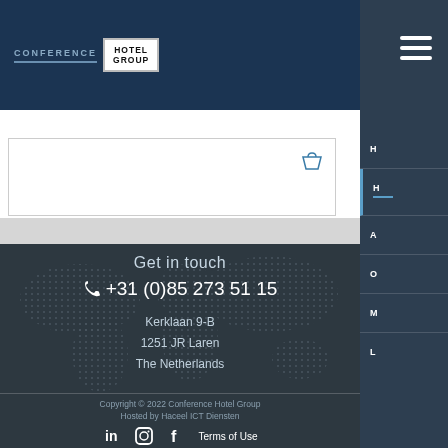CONFERENCE HOTEL GROUP
Get in touch
+31 (0)85 273 51 15
Kerklaan 9-B
1251 JR Laren
The Netherlands
Copyright © 2022 Conference Hotel Group
Hosted by Haceel ICT Diensten
Terms of Use